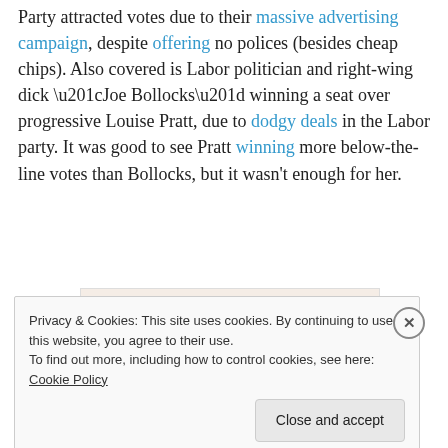Party attracted votes due to their massive advertising campaign, despite offering no polices (besides cheap chips). Also covered is Labor politician and right-wing dick “Joe Bollocks” winning a seat over progressive Louise Pratt, due to dodgy deals in the Labor party. It was good to see Pratt winning more below-the-line votes than Bollocks, but it wasn’t enough for her.
[Figure (other): WordPress advertisement banner with text 'Need a website quickly – and on a budget?' and WordPress logo]
Privacy & Cookies: This site uses cookies. By continuing to use this website, you agree to their use. To find out more, including how to control cookies, see here: Cookie Policy